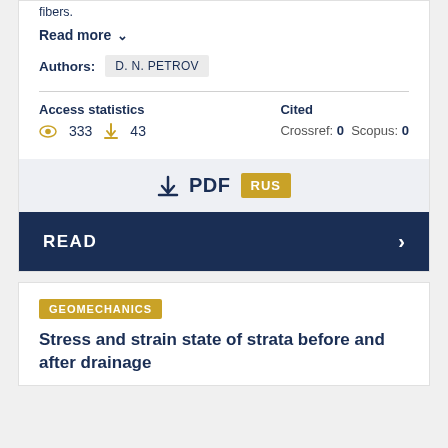fibers.
Read more ∨
Authors: D. N. PETROV
Access statistics
👁 333  ⬇ 43
Cited
Crossref: 0  Scopus: 0
⬇ PDF  RUS
READ  ›
GEOMECHANICS
Stress and strain state of strata before and after drainage